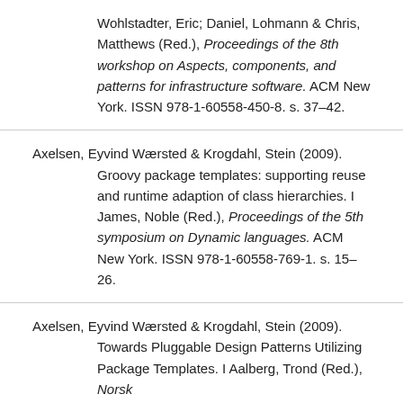Wohlstadter, Eric; Daniel, Lohmann & Chris, Matthews (Red.), Proceedings of the 8th workshop on Aspects, components, and patterns for infrastructure software. ACM New York. ISSN 978-1-60558-450-8. s. 37–42.
Axelsen, Eyvind Wærsted & Krogdahl, Stein (2009). Groovy package templates: supporting reuse and runtime adaption of class hierarchies. I James, Noble (Red.), Proceedings of the 5th symposium on Dynamic languages. ACM New York. ISSN 978-1-60558-769-1. s. 15–26.
Axelsen, Eyvind Wærsted & Krogdahl, Stein (2009). Towards Pluggable Design Patterns Utilizing Package Templates. I Aalberg, Trond (Red.), Norsk